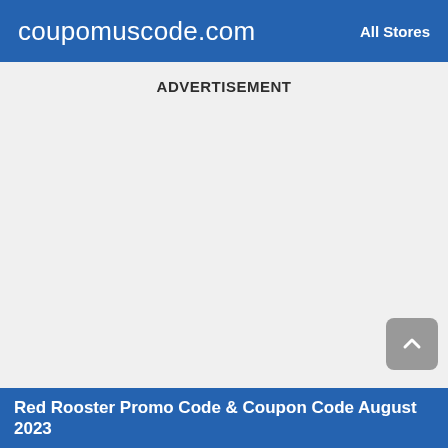coupomuscode.com   All Stores
ADVERTISEMENT
Red Rooster Promo Code & Coupon Code August 2023